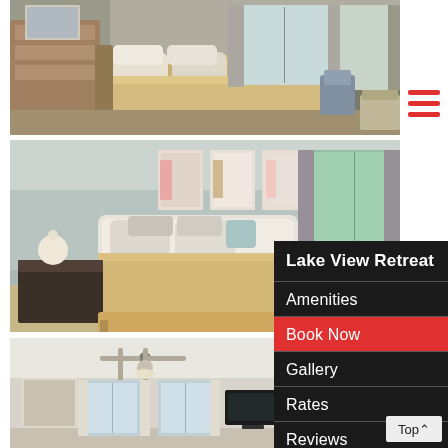[Figure (photo): Interior bedroom photo with wooden headboard bed, white bedding, two windows with grey curtains, hardwood floor, and accent chair]
[Figure (photo): Interior bedroom photo with white upholstered headboard, decorative art prints on wall, window with curtains, bedside table with lamp]
[Figure (photo): Interior room photo showing ceiling fan, TV mounted on wall, two windows with curtains]
[Figure (screenshot): Navigation menu overlay with dark background showing: Lake View Retreat, Amenities, Book Now (highlighted red), Gallery, Rates, Reviews]
Lake View Retreat
Amenities
Book Now
Gallery
Rates
Reviews